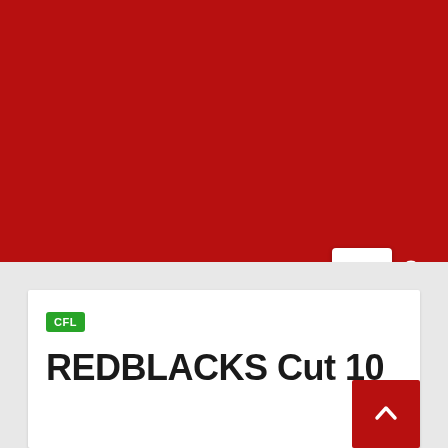[Figure (screenshot): Red header/banner area of a sports news website]
[Figure (screenshot): Navigation icons: blue home icon, white menu hamburger button, white search icon on red background]
CFL
REDBLACKS Cut 10